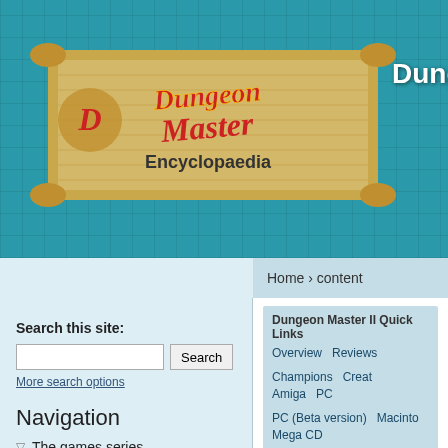Dungeon Master Encyclopaedia — Dungeon Master En[cyclopaedia]
Home › content
Search this site:
More search options
Navigation
▽ The games series
○ Dungeon Master
○ Chaos Strikes Back
○ Dungeon Master II
○ Theron's Quest
○ Dungeon Master Nexus
○ Related products
○ FTL Games
Dungeon Master II Quick Links
Overview  Reviews  Champions  Creat[ures]
Amiga  PC  PC (Beta version)  Macinto[sh]
Mega CD
Dungeon Master II Cha[mpions]
Mon, 2005-10-24 02:00 — ChristopheF
Description
There are 16 champions available in [Dungeon] Master II. You start the game with To[rham...]
[Figure (table-as-image): Grid/chart showing numbered cells: 21,22,23,24,25,26,27 on top row and 36 on left/right of second row]